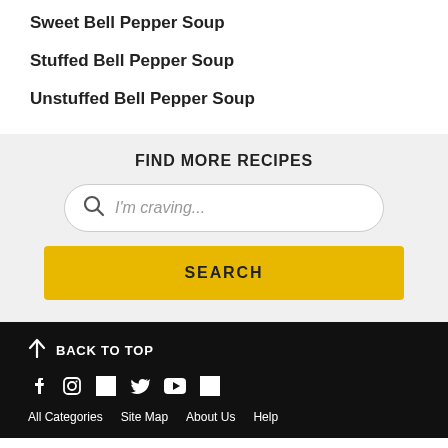Sweet Bell Pepper Soup
Stuffed Bell Pepper Soup
Unstuffed Bell Pepper Soup
FIND MORE RECIPES
I'm craving...
SEARCH
↑ BACK TO TOP
All Categories  Site Map  About Us  Help